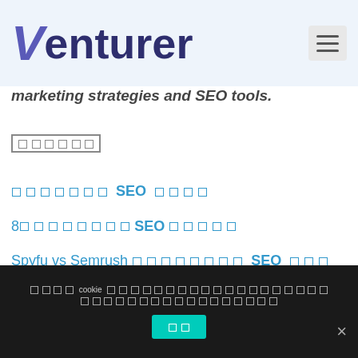Venturer
marketing strategies and SEO tools.
□□□□□□
□□□□□□□ SEO □□□□
8□□□□□□□□SEO□□□□□
Spyfu vs Semrush□□□□□□□□ SEO □□□
2022 □□□□ 8 □□ SEO □□□□
□□□□ cookie □□□□□□□□□□□□□□□□□□□□□□□□□□□□□□□□□□□□□□□□□